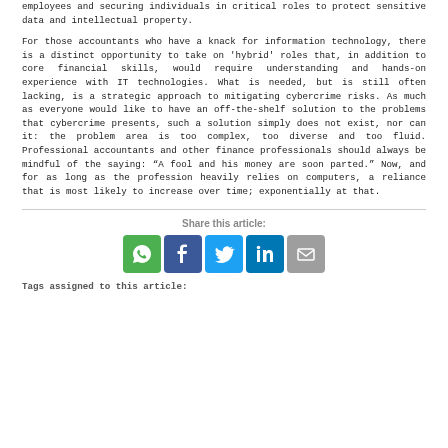employees and securing individuals in critical roles to protect sensitive data and intellectual property.
For those accountants who have a knack for information technology, there is a distinct opportunity to take on 'hybrid' roles that, in addition to core financial skills, would require understanding and hands-on experience with IT technologies. What is needed, but is still often lacking, is a strategic approach to mitigating cybercrime risks. As much as everyone would like to have an off-the-shelf solution to the problems that cybercrime presents, such a solution simply does not exist, nor can it: the problem area is too complex, too diverse and too fluid. Professional accountants and other finance professionals should always be mindful of the saying: “A fool and his money are soon parted.” Now, and for as long as the profession heavily relies on computers, a reliance that is most likely to increase over time; exponentially at that.
Share this article:
[Figure (infographic): Social sharing icons: WhatsApp (green), Facebook (dark blue), Twitter (light blue), LinkedIn (blue), Email (grey)]
Tags assigned to this article: